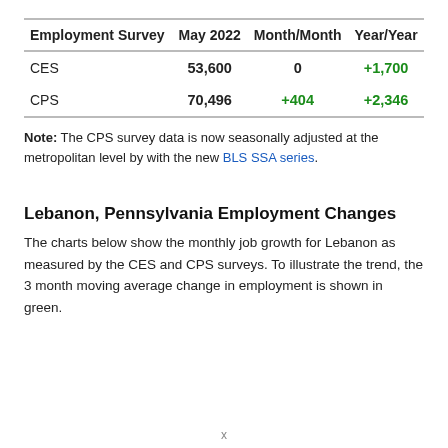| Employment Survey | May 2022 | Month/Month | Year/Year |
| --- | --- | --- | --- |
| CES | 53,600 | 0 | +1,700 |
| CPS | 70,496 | +404 | +2,346 |
Note: The CPS survey data is now seasonally adjusted at the metropolitan level by with the new BLS SSA series.
Lebanon, Pennsylvania Employment Changes
The charts below show the monthly job growth for Lebanon as measured by the CES and CPS surveys. To illustrate the trend, the 3 month moving average change in employment is shown in green.